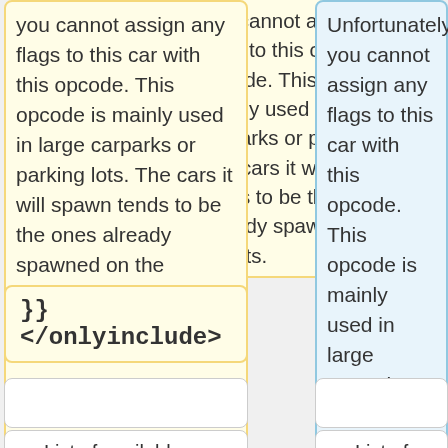you cannot assign any flags to this car with this opcode. This opcode is mainly used in large carparks or parking lots. The cars it will spawn tends to be the ones already spawned on the streets.
Unfortunately, you cannot assign any flags to this car with this opcode. This opcode is mainly used in large carparks or parking lots. The cars it will spawn tends to be the ones already spawned on the streets.
}}
</onlyinclude>
== List of available cars ==
== List of available cars ==
The following is a list of all vehicles
The following is a list of all vehicles